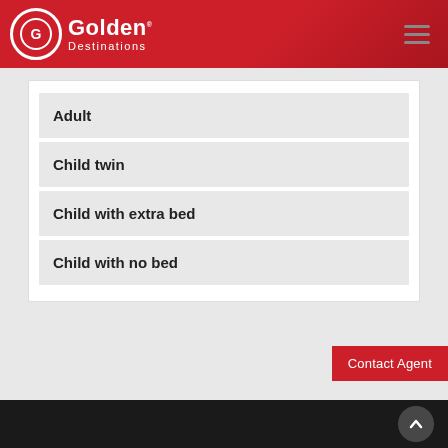Golden Destinations
Adult
Child twin
Child with extra bed
Child with no bed
Contact Agent